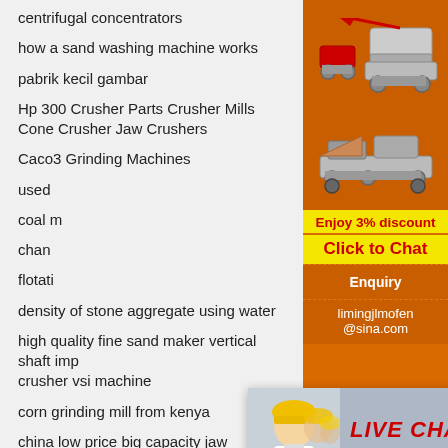centrifugal concentrators
how a sand washing machine works
pabrik kecil gambar
Hp 300 Crusher Parts Crusher Mills Cone Crusher Jaw Crushers
Caco3 Grinding Machines
used
coal m
chanc
flotati
density of stone aggregate using water
high quality fine sand maker vertical shaft imp crusher vsi machine
corn grinding mill from kenya
china low price big capacity jaw crushers
williams barite grinding mill
dry iron ore magnetic separators sale crusher
[Figure (infographic): Orange sidebar with two mining/crushing machine SVG illustrations, a yellow discount bar with red text 'Enjoy 3% discount', a yellow 'Click to Chat' bar in red, an Enquiry section, and email address limingjlmofen@sina.com]
[Figure (screenshot): Live Chat popup overlay showing woman with helmet, red LIVE CHAT text, 'Click for a Free Consultation', Chat now button (red) and Chat later button (dark grey), with close button]